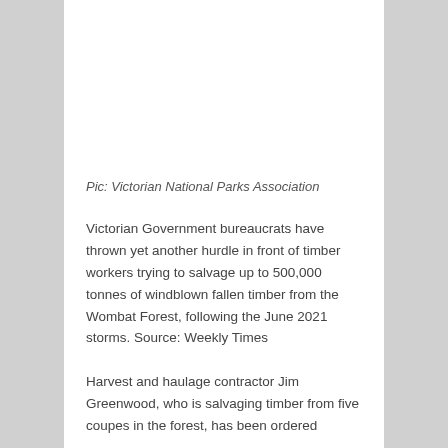Pic: Victorian National Parks Association
Victorian Government bureaucrats have thrown yet another hurdle in front of timber workers trying to salvage up to 500,000 tonnes of windblown fallen timber from the Wombat Forest, following the June 2021 storms. Source: Weekly Times
Harvest and haulage contractor Jim Greenwood, who is salvaging timber from five coupes in the forest, has been ordered